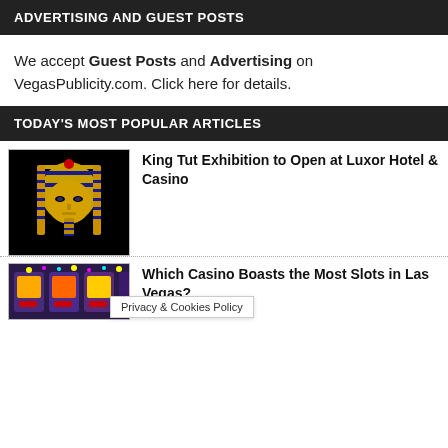ADVERTISING AND GUEST POSTS
We accept Guest Posts and Advertising on VegasPublicity.com. Click here for details.
TODAY'S MOST POPULAR ARTICLES
[Figure (photo): King Tut golden mask on black background]
King Tut Exhibition to Open at Luxor Hotel & Casino
[Figure (photo): Casino slot machines in colorful lighting]
Which Casino Boasts the Most Slots in Las Vegas?
Privacy & Cookies Policy